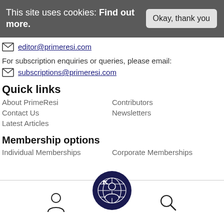This site uses cookies: Find out more.   Okay, thank you
editor@primeresi.com
For subscription enquiries or queries, please email:
subscriptions@primeresi.com
Quick links
About PrimeResi
Contributors
Contact Us
Newsletters
Latest Articles
Membership options
Individual Memberships
Corporate Memberships
[Figure (logo): PrimeResi circular logo with globe/face icon in dark navy blue]
[Figure (illustration): Person/user icon outline]
[Figure (illustration): Search magnifying glass icon]